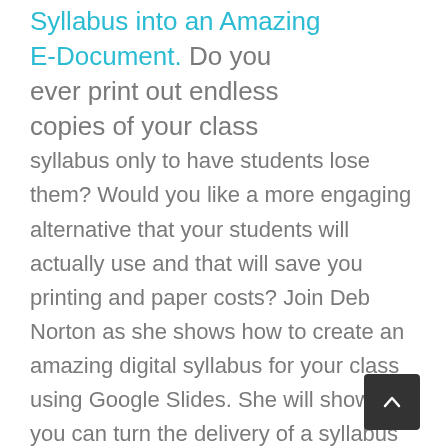Syllabus into an Amazing E-Document. Do you ever print out endless copies of your class
syllabus only to have students lose them? Would you like a more engaging alternative that your students will actually use and that will save you printing and paper costs? Join Deb Norton as she shows how to create an amazing digital syllabus for your class using Google Slides. She will show how you can turn the delivery of a syllabus from passive and dry to captivating and interactive. Deb will share design ideas and useful techniques that will help you to create an e-document that will be highly effective and useful – one that will not